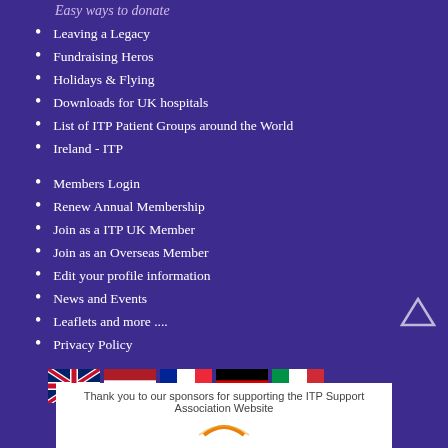Easy ways to donate
Leaving a Legacy
Fundraising Heros
Holidays & Flying
Downloads for UK hospitals
List of ITP Patient Groups around the World
Ireland - ITP
Members Login
Renew Annual Membership
Join as a ITP UK Member
Join as an Overseas Member
Edit your profile information
News and Events
Leaflets and more ....
Privacy Policy
[Figure (illustration): Row of five country flags: UK, Netherlands, France, Germany, Italy]
Thank you to our sponsors for supporting the ITP Support Association Website